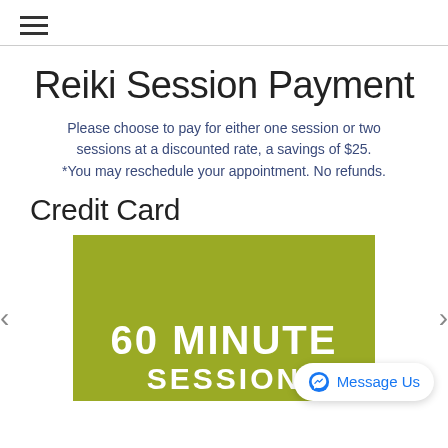≡
Reiki Session Payment
Please choose to pay for either one session or two sessions at a discounted rate, a savings of $25. *You may reschedule your appointment. No refunds.
Credit Card
[Figure (other): Olive/yellow-green colored promotional card showing '60 MINUTE SESSION' text in white bold uppercase letters, with left and right navigation arrows on the sides. A Facebook Messenger 'Message Us' button appears in the lower right corner.]